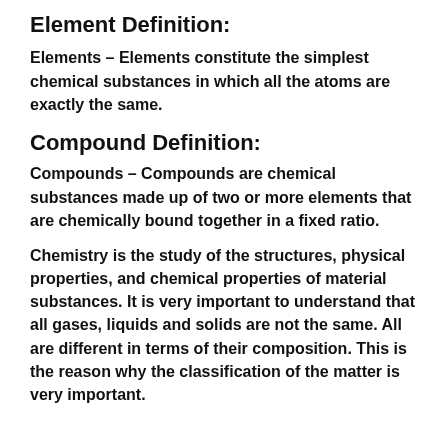Element Definition:
Elements – Elements constitute the simplest chemical substances in which all the atoms are exactly the same.
Compound Definition:
Compounds – Compounds are chemical substances made up of two or more elements that are chemically bound together in a fixed ratio.
Chemistry is the study of the structures, physical properties, and chemical properties of material substances. It is very important to understand that all gases, liquids and solids are not the same. All are different in terms of their composition. This is the reason why the classification of the matter is very important.